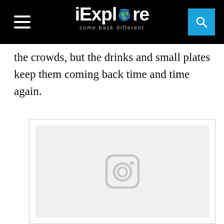iExplore — come back different
the crowds, but the drinks and small plates keep them coming back time and time again.
[Figure (screenshot): Instagram embedded post placeholder showing the Instagram camera icon on a light gray background, inside a white bordered card]